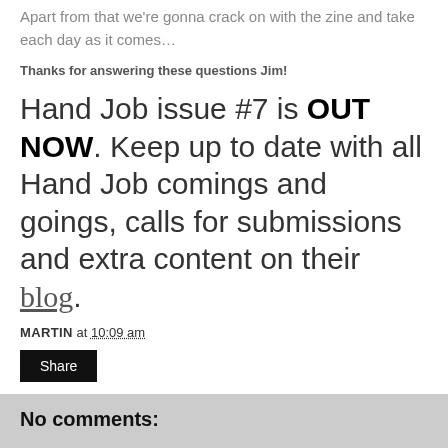Apart from that we're gonna crack on with the zine and take each day as it comes…
Thanks for answering these questions Jim!
Hand Job issue #7 is OUT NOW. Keep up to date with all Hand Job comings and goings, calls for submissions and extra content on their blog.
MARTIN at 10:09 am
Share
No comments:
Post a Comment